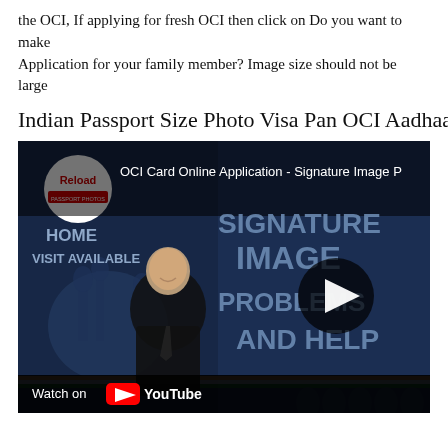the OCI, If applying for fresh OCI then click on Do you want to make Application for your family member? Image size should not be large
Indian Passport Size Photo Visa Pan OCI Aadhaar DL A
[Figure (screenshot): YouTube video thumbnail showing OCI Card Online Application - Signature Image Problems and Help. Features the Reload Internet logo, a man in a suit, Indian monument illustrations, text reading SIGNATURE IMAGE PROBLEMS AND HELP, HOME VISIT AVAILABLE, FAST SERVICE, with a play button overlay and Watch on YouTube bar at the bottom.]